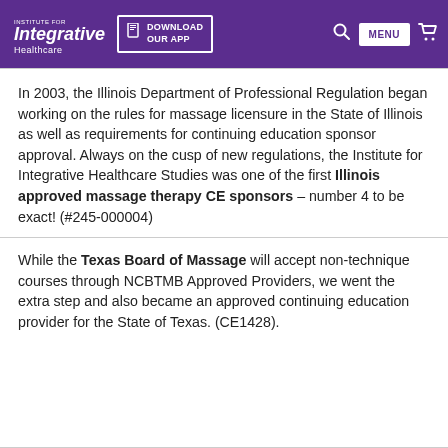Institute for Integrative Healthcare — DOWNLOAD OUR APP — MENU
In 2003, the Illinois Department of Professional Regulation began working on the rules for massage licensure in the State of Illinois as well as requirements for continuing education sponsor approval. Always on the cusp of new regulations, the Institute for Integrative Healthcare Studies was one of the first Illinois approved massage therapy CE sponsors – number 4 to be exact! (#245-000004)
While the Texas Board of Massage will accept non-technique courses through NCBTMB Approved Providers, we went the extra step and also became an approved continuing education provider for the State of Texas. (CE1428).